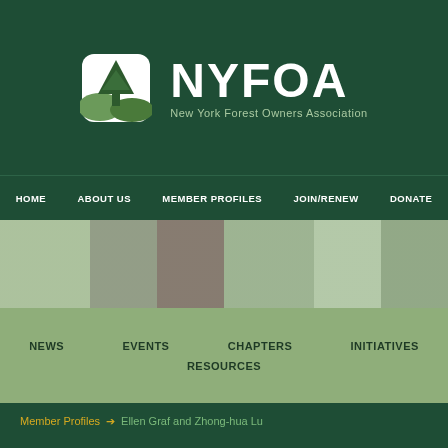[Figure (logo): NYFOA logo with tree icon and text 'NYFOA New York Forest Owners Association']
HOME   ABOUT US   MEMBER PROFILES   JOIN/RENEW   DONATE
[Figure (photo): Horizontal strip of forest/nature photos]
NEWS   EVENTS   CHAPTERS   INITIATIVES   RESOURCES
Member Profiles > Ellen Graf and Zhong-hua Lu
Ellen Graf and Zhong-hua Lu